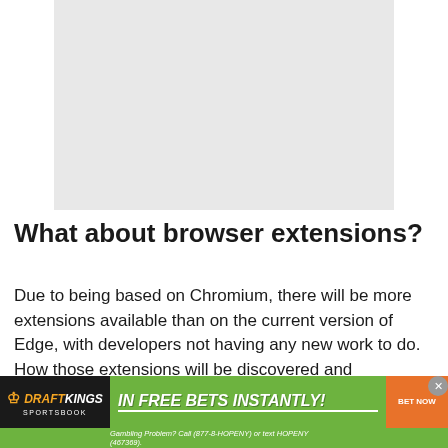[Figure (other): Gray placeholder image rectangle at top of page]
What about browser extensions?
Due to being based on Chromium, there will be more extensions available than on the current version of Edge, with developers not having any new work to do. How those extensions will be discovered and
[Figure (other): DraftKings Sportsbook advertisement banner. Text: IN FREE BETS INSTANTLY! Gambling Problem? Call (877-8-HOPENY) or text HOPENY (467369). BET NOW button.]